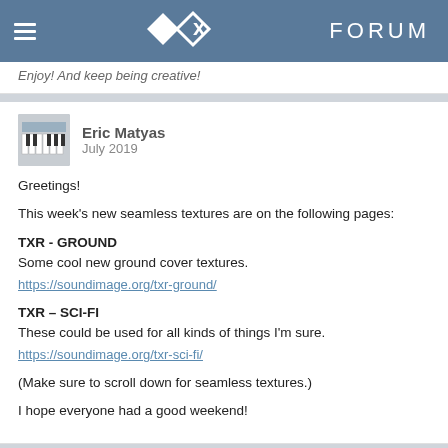ORX FORUM
Enjoy! And keep being creative!
Eric Matyas
July 2019
Greetings!

This week's new seamless textures are on the following pages:

TXR - GROUND
Some cool new ground cover textures.
https://soundimage.org/txr-ground/

TXR – SCI-FI
These could be used for all kinds of things I'm sure.
https://soundimage.org/txr-sci-fi/

(Make sure to scroll down for seamless textures.)

I hope everyone had a good weekend!
Eric Matyas
July 2019
107/173

This week's new seamless textures are all fantasy textures: